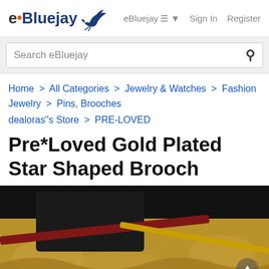eBluejay — eBluejay  Sign In  Register
Search eBluejay
Home > All Categories > Jewelry & Watches > Fashion Jewelry > Pins, Brooches
dealoras"s Store > PRE-LOVED
Pre*Loved Gold Plated Star Shaped Brooch
[Figure (photo): Partial product photo of a gold plated star shaped brooch on a decorative surface, dark background visible in upper portion]